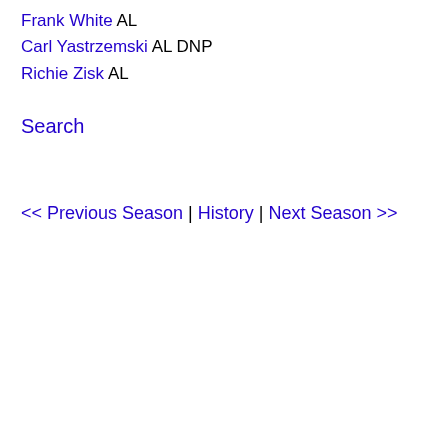Frank White AL
Carl Yastrzemski AL DNP
Richie Zisk AL
Search
<< Previous Season | History | Next Season >>